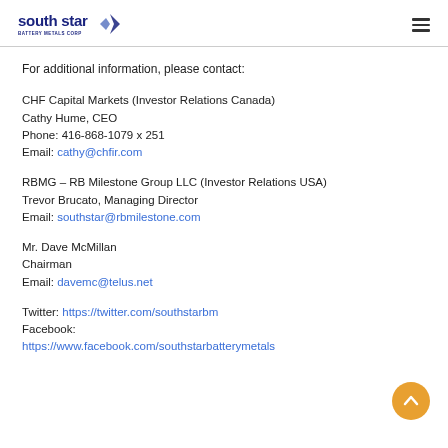south star BATTERY METALS CORP
For additional information, please contact:
CHF Capital Markets (Investor Relations Canada)
Cathy Hume, CEO
Phone: 416-868-1079 x 251
Email: cathy@chfir.com
RBMG – RB Milestone Group LLC (Investor Relations USA)
Trevor Brucato, Managing Director
Email: southstar@rbmilestone.com
Mr. Dave McMillan
Chairman
Email: davemc@telus.net
Twitter: https://twitter.com/southstarbm
Facebook:
https://www.facebook.com/southstarbatterymetals